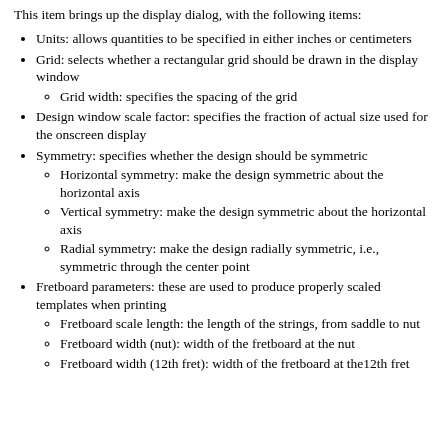This item brings up the display dialog, with the following items:
Units: allows quantities to be specified in either inches or centimeters
Grid: selects whether a rectangular grid should be drawn in the display window
Grid width: specifies the spacing of the grid
Design window scale factor: specifies the fraction of actual size used for the onscreen display
Symmetry: specifies whether the design should be symmetric
Horizontal symmetry: make the design symmetric about the horizontal axis
Vertical symmetry: make the design symmetric about the horizontal axis
Radial symmetry: make the design radially symmetric, i.e., symmetric through the center point
Fretboard parameters: these are used to produce properly scaled templates when printing
Fretboard scale length: the length of the strings, from saddle to nut
Fretboard width (nut): width of the fretboard at the nut
Fretboard width (12th fret): width of the fretboard at the12th fret